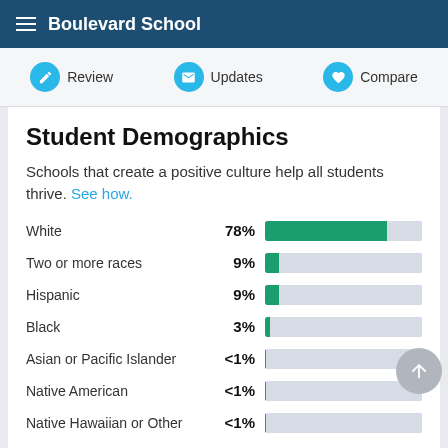Boulevard School
Student Demographics
Schools that create a positive culture help all students thrive. See how.
[Figure (bar-chart): Student Demographics]